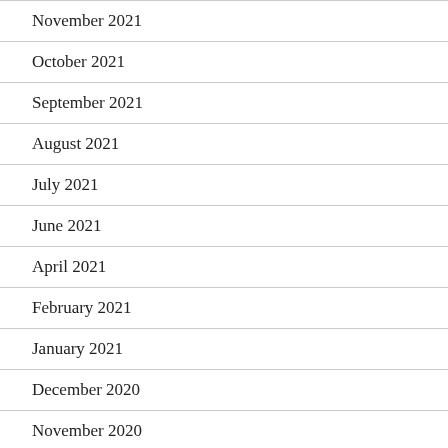November 2021
October 2021
September 2021
August 2021
July 2021
June 2021
April 2021
February 2021
January 2021
December 2020
November 2020